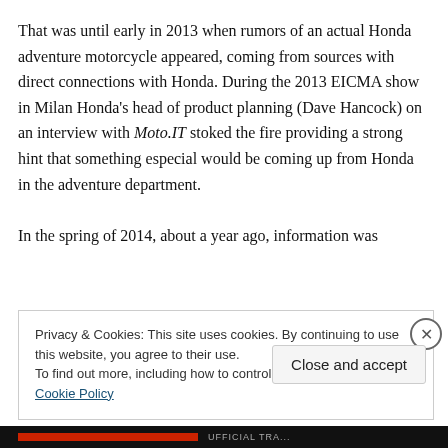That was until early in 2013 when rumors of an actual Honda adventure motorcycle appeared, coming from sources with direct connections with Honda. During the 2013 EICMA show in Milan Honda's head of product planning (Dave Hancock) on an interview with Moto.IT stoked the fire providing a strong hint that something especial would be coming up from Honda in the adventure department.

In the spring of 2014, about a year ago, information was
Privacy & Cookies: This site uses cookies. By continuing to use this website, you agree to their use.
To find out more, including how to control cookies, see here: Cookie Policy
Close and accept